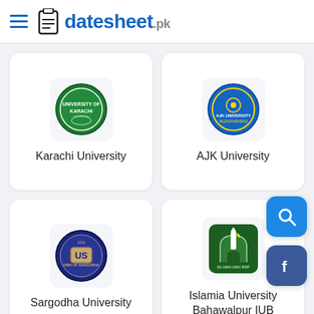datesheet.pk
[Figure (logo): Karachi University logo - green circular emblem]
Karachi University
[Figure (logo): AJK University logo - blue circular emblem]
AJK University
[Figure (logo): Sargodha University logo - dark blue circular emblem with US letters]
Sargodha University
[Figure (logo): Islamia University Bahawalpur IUB logo - green mosque emblem]
Islamia University Bahawalpur IUB
[Figure (logo): Unknown university logo - blue circular emblem (partially visible)]
[Figure (logo): MUI or similar university logo (partially visible)]